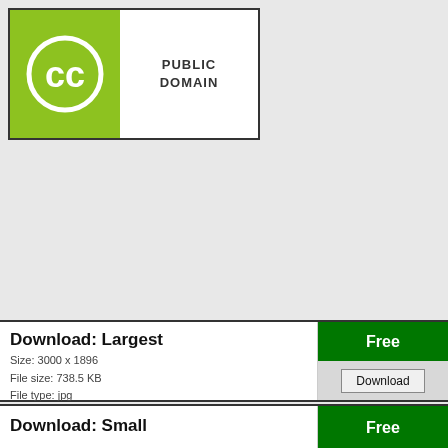[Figure (logo): Creative Commons Public Domain logo: green square with white CC circle icon on left, white area with bold text PUBLIC DOMAIN on right, all inside a black border rectangle]
Download: Largest
Size: 3000 x 1896
File size: 738.5 KB
File type: jpg
Free
Download
Download: Small
Free